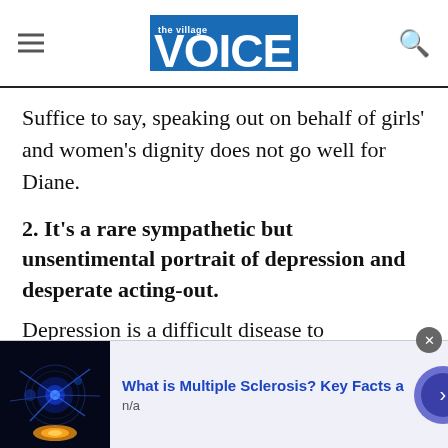The Village Voice
Suffice to say, speaking out on behalf of girls' and women's dignity does not go well for Diane.
2. It's a rare sympathetic but unsentimental portrait of depression and desperate acting-out.
Depression is a difficult disease to compellingly convey onscreen, and it doesn't rain enough in L.A. for BoJack to stare out the window at gray skies for days on end. But the show compassionately chronicles how BoJack's inescapable misery
[Figure (infographic): Advertisement banner: blue neuron image on black background, text 'What is Multiple Sclerosis? Key Facts a', subtitle 'n/a', with navigation arrow button and close button.]